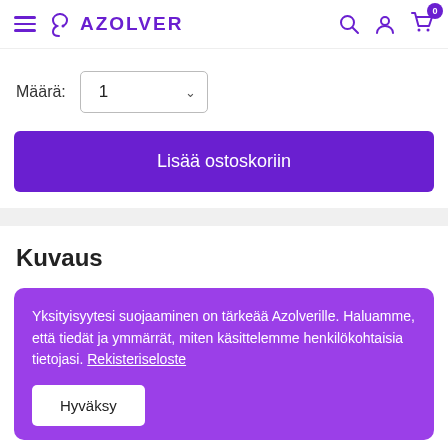AZOLVER
Määrä: 1
Lisää ostoskoriin
Kuvaus
Yksityisyytesi suojaaminen on tärkeää Azolverille. Haluamme, että tiedät ja ymmärrät, miten käsittelemme henkilökohtaisia tietojasi. Rekisteriseloste
Hyväksy
Perfect for creating cards, producing motifs, sketching,